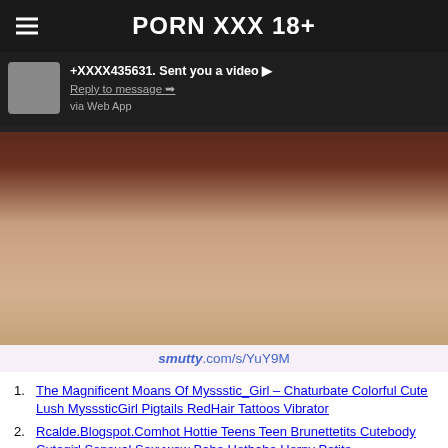PORN XXX 18+
[Figure (screenshot): Screenshot of a notification overlay on a photo. Notification reads '+XXXX435631. Sent you a video ▶ Reply to message ➡ via Web App'. Below is a photo with an image, and a smutty.com/s/YuY9M caption.]
smutty.com/s/YuY9M
The Magnificent Moans Of Myssstic_Girl – Chaturbate Colorful Cute Lush MysssticGirl Pigtails RedHair Tattoos Vibrator
Rcalde.Blogspot.Comhot Hottie Teens Teen Brunettetits Cutebody Cutegirl Sensual Sexywow Babe Hotbabe Horny Petite